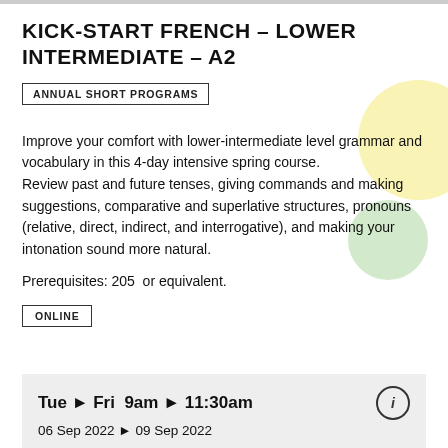KICK-START FRENCH – LOWER INTERMEDIATE – A2
ANNUAL SHORT PROGRAMS
Improve your comfort with lower-intermediate level grammar and vocabulary in this 4-day intensive spring course.
Review past and future tenses, giving commands and making suggestions, comparative and superlative structures, pronouns (relative, direct, indirect, and interrogative), and making your intonation sound more natural.
Prerequisites: 205  or equivalent.
ONLINE
Tue ▶ Fri  9am ▶ 11:30am
06 Sep 2022 ▶ 09 Sep 2022